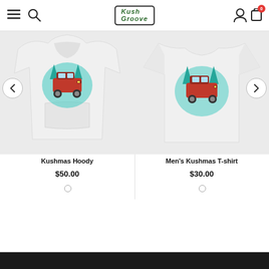KushGroove store header with hamburger menu, search, logo, user icon, and cart (0)
[Figure (photo): White hoodie with a graphic print of a red jeep with teal tree splash design - Kushmas Hoody product image]
Kushmas Hoody
$50.00
[Figure (photo): White t-shirt with a graphic print of a red jeep with teal tree splash design - Men's Kushmas T-shirt product image]
Men's Kushmas T-shirt
$30.00